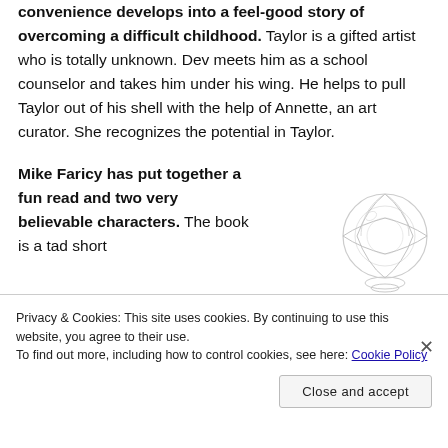convenience develops into a feel-good story of overcoming a difficult childhood. Taylor is a gifted artist who is totally unknown. Dev meets him as a school counselor and takes him under his wing. He helps to pull Taylor out of his shell with the help of Annette, an art curator. She recognizes the potential in Taylor.
Mike Faricy has put together a fun read and two very believable characters. The book is a tad short
[Figure (illustration): Illustration of a crystal or glass decorative ball/figurine, sketched in light grey lines]
Privacy & Cookies: This site uses cookies. By continuing to use this website, you agree to their use.
To find out more, including how to control cookies, see here: Cookie Policy